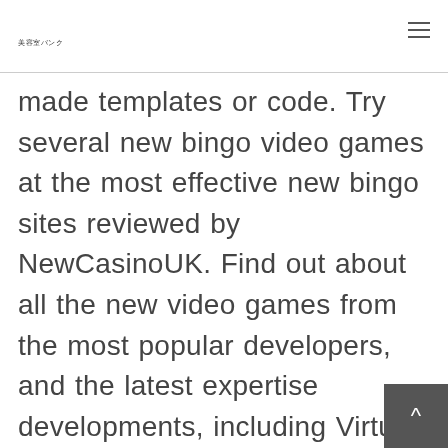美容室バンク
made templates or code. Try several new bingo video games at the most effective new bingo sites reviewed by NewCasinoUK. Find out about all the new video games from the most popular developers, and the latest expertise developments, including Virtual Reality video games from Microgaming casinos in UK. Whether to play at a new or well-established casino is a hotly debated topic.